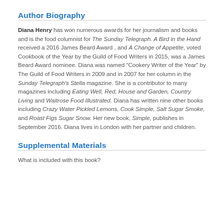Author Biography
Diana Henry has won numerous awards for her journalism and books and is the food columnist for The Sunday Telegraph. A Bird in the Hand received a 2016 James Beard Award , and A Change of Appetite, voted Cookbook of the Year by the Guild of Food Writers in 2015, was a James Beard Award nominee. Diana was named "Cookery Writer of the Year" by The Guild of Food Writers in 2009 and in 2007 for her column in the Sunday Telegraph's Stella magazine. She is a contributor to many magazines including Eating Well, Red, House and Garden, Country Living and Waitrose Food Illustrated. Diana has written nine other books including Crazy Water Pickled Lemons, Cook Simple, Salt Sugar Smoke, and Roast Figs Sugar Snow. Her new book, Simple, publishes in September 2016. Diana lives in London with her partner and children.
Supplemental Materials
What is included with this book?